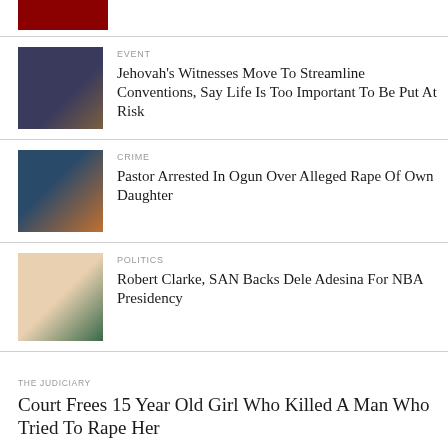[Figure (logo): Dark red rectangular logo block at top left]
EVENT
Jehovah's Witnesses Move To Streamline Conventions, Say Life Is Too Important To Be Put At Risk
CRIME
Pastor Arrested In Ogun Over Alleged Rape Of Own Daughter
POLITICS
Robert Clarke, SAN Backs Dele Adesina For NBA Presidency
THE JUDICIARY
Court Frees 15 Year Old Girl Who Killed A Man Who Tried To Rape Her